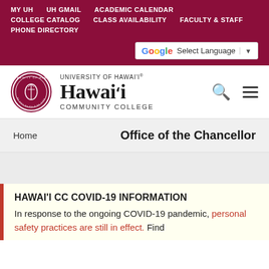MY UH  UH GMAIL  ACADEMIC CALENDAR  COLLEGE CATALOG  CLASS AVAILABILITY  FACULTY & STAFF  PHONE DIRECTORY
[Figure (logo): Google Translate widget with G icon and Select Language dropdown]
[Figure (logo): University of Hawai'i Community College circular seal logo]
UNIVERSITY of HAWAI'I HAWAI'I COMMUNITY COLLEGE
Home
Office of the Chancellor
HAWAI'I CC COVID-19 INFORMATION
In response to the ongoing COVID-19 pandemic, personal safety practices are still in effect. Find